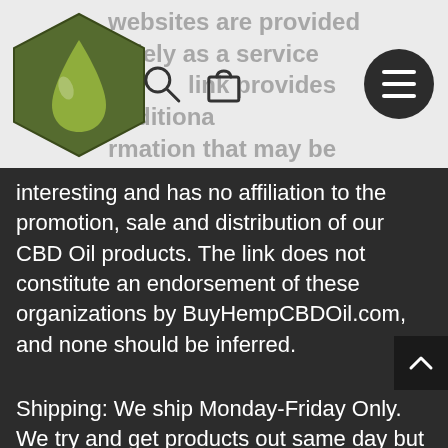websites are provided solely as a service to our users. The link provides additional information that may be useful or interesting and has no affiliation to the promotion, sale and distribution of our CBD Oil products.
[Figure (logo): BuyHempCBDOil hexagonal green drop logo]
interesting and has no affiliation to the promotion, sale and distribution of our CBD Oil products. The link does not constitute an endorsement of these organizations by BuyHempCBDOil.com, and none should be inferred.
Shipping: We ship Monday-Friday Only. We try and get products out same day but do not guarantee it. Friday orders are not guaranteed to go out before weekend depending on order volumes and time received. Our policy is to ship within 1-2 business days. USPS First Class Mail is